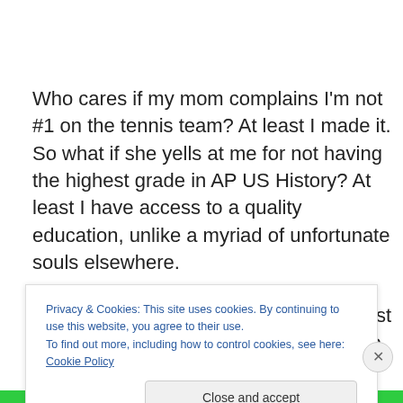Who cares if my mom complains I'm not #1 on the tennis team? At least I made it. So what if she yells at me for not having the highest grade in AP US History? At least I have access to a quality education, unlike a myriad of unfortunate souls elsewhere.
So, from now on, I'm going to try my best to accept my shortcomings and strive to improve them without being too
Privacy & Cookies: This site uses cookies. By continuing to use this website, you agree to their use.
To find out more, including how to control cookies, see here: Cookie Policy